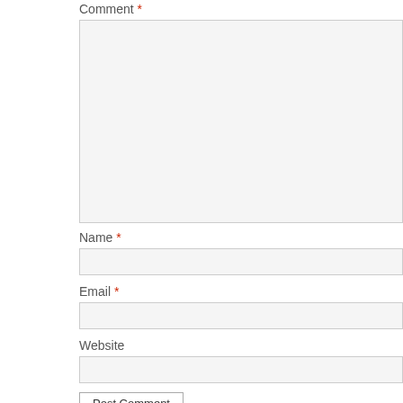Comment *
[Figure (screenshot): Large textarea input field for comment, light gray background with border]
Name *
[Figure (screenshot): Single line text input field for name, light gray background with border]
Email *
[Figure (screenshot): Single line text input field for email, light gray background with border]
Website
[Figure (screenshot): Single line text input field for website, light gray background with border]
Post Comment